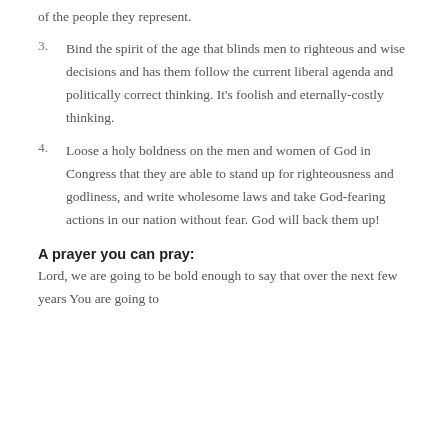of the people they represent.
3. Bind the spirit of the age that blinds men to righteous and wise decisions and has them follow the current liberal agenda and politically correct thinking. It's foolish and eternally-costly thinking.
4. Loose a holy boldness on the men and women of God in Congress that they are able to stand up for righteousness and godliness, and write wholesome laws and take God-fearing actions in our nation without fear. God will back them up!
A prayer you can pray:
Lord, we are going to be bold enough to say that over the next few years You are going to